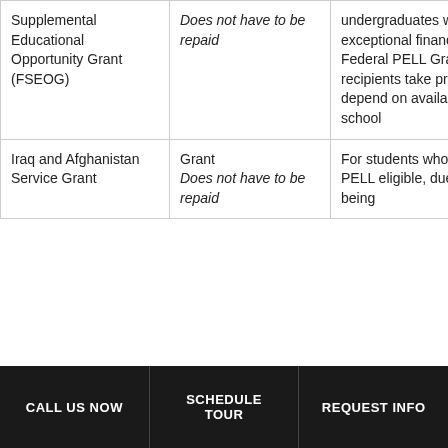| Aid Type | Repayment | Eligibility | Amount |
| --- | --- | --- | --- |
| Supplemental Educational Opportunity Grant (FSEOG) | Does not have to be repaid | For undergraduates with exceptional financial need; Federal PELL Grant recipients take priority; funds depend on availability at school |  |
| Iraq and Afghanistan Service Grant | Grant Does not have to be repaid | For students who are not PELL eligible, due only to being... | Up to $6,5 Max |
CALL US NOW   SCHEDULE TOUR   REQUEST INFO